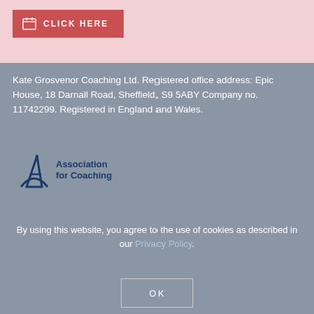[Figure (other): Red button with calendar icon and text CLICK HERE on pink background]
Kate Grosvenor Coaching Ltd. Registered office address: Epic House, 18 Darnall Road, Sheffield, S9 5ABY Company no. 11742299. Registered in England and Wales.
[Figure (logo): Association for Coaching logo — blue A with arc and text 'Association for Coaching']
By using this website, you agree to the use of cookies as described in our Privacy Policy.
[Figure (other): OK button with white border on grey background]